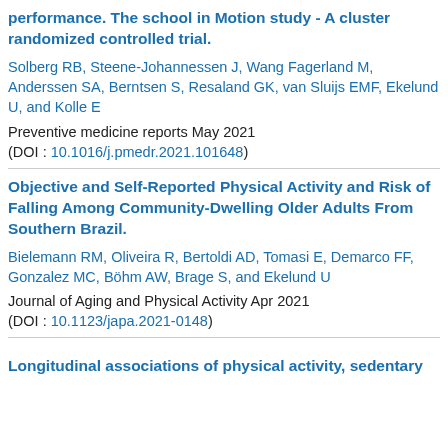performance. The school in Motion study - A cluster randomized controlled trial.
Solberg RB, Steene-Johannessen J, Wang Fagerland M, Anderssen SA, Berntsen S, Resaland GK, van Sluijs EMF, Ekelund U, and Kolle E
Preventive medicine reports May 2021
(DOI : 10.1016/j.pmedr.2021.101648)
Objective and Self-Reported Physical Activity and Risk of Falling Among Community-Dwelling Older Adults From Southern Brazil.
Bielemann RM, Oliveira R, Bertoldi AD, Tomasi E, Demarco FF, Gonzalez MC, Böhm AW, Brage S, and Ekelund U
Journal of Aging and Physical Activity Apr 2021
(DOI : 10.1123/japa.2021-0148)
Longitudinal associations of physical activity, sedentary